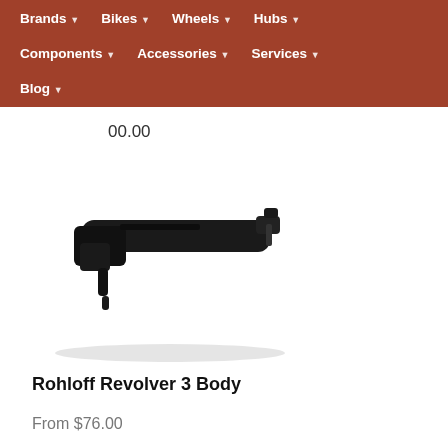Brands | Bikes | Wheels | Hubs | Components | Accessories | Services | Blog
00.00
[Figure (photo): Rohloff Revolver 3 Body bicycle component - a small black elongated lever/body part photographed on white background]
Rohloff Revolver 3 Body
From $76.00